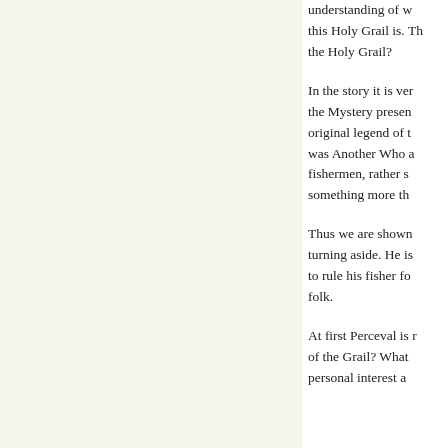understanding of what this Holy Grail is. The Holy Grail?

In the story it is very the Mystery present original legend of t was Another Who a fishermen, rather s something more th

Thus we are shown turning aside. He is to rule his fisher fo folk.

At first Perceval is r of the Grail? What personal interest a